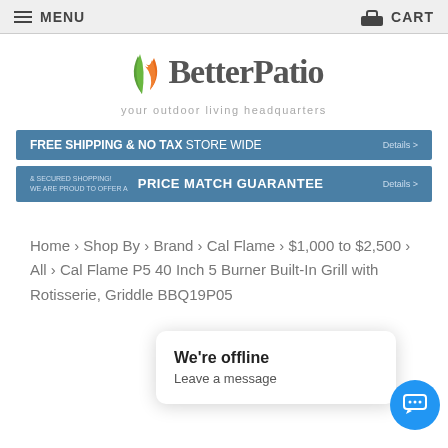MENU   CART
[Figure (logo): BetterPatio logo with green leaf and orange flame icon, tagline: your outdoor living headquarters]
FREE SHIPPING & NO TAX STORE WIDE  Details >
& SECURED SHOPPING! WE ARE PROUD TO OFFER A PRICE MATCH GUARANTEE  Details >
Home › Shop By › Brand › Cal Flame › $1,000 to $2,500 › All › Cal Flame P5 40 Inch 5 Burner Built-In Grill with Rotisserie, Griddle BBQ19P05
We're offline
Leave a message